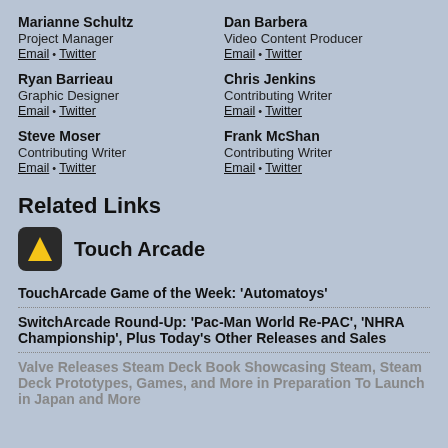Marianne Schultz
Project Manager
Email • Twitter
Dan Barbera
Video Content Producer
Email • Twitter
Ryan Barrieau
Graphic Designer
Email • Twitter
Chris Jenkins
Contributing Writer
Email • Twitter
Steve Moser
Contributing Writer
Email • Twitter
Frank McShan
Contributing Writer
Email • Twitter
Related Links
[Figure (logo): Touch Arcade logo icon with triangle shape on dark background next to text 'Touch Arcade']
TouchArcade Game of the Week: ‘Automatoys’
SwitchArcade Round-Up: ‘Pac-Man World Re-PAC’, ‘NHRA Championship’, Plus Today’s Other Releases and Sales
Valve Releases Steam Deck Book Showcasing Steam, Steam Deck Prototypes, Games, and More in Preparation To Launch in Japan and More